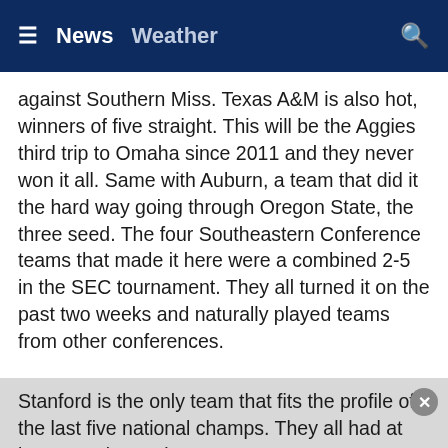≡  News  Weather  🔍
against Southern Miss. Texas A&M is also hot, winners of five straight. This will be the Aggies third trip to Omaha since 2011 and they never won it all. Same with Auburn, a team that did it the hard way going through Oregon State, the three seed. The four Southeastern Conference teams that made it here were a combined 2-5 in the SEC tournament. They all turned it on the past two weeks and naturally played teams from other conferences.
The favorite though out of the conference was Tennessee. Past tense, because Notre Dame went to Knoxville and beat the overwhelming championship favorite. The Irish are one of four teams to make it to the CWS without playing a home game at any part of the tournament.
Stanford is the only team that fits the profile of the last five national champs. They all had at least 45 wins and 18 or